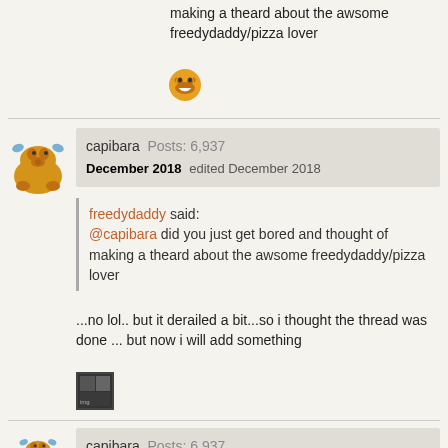making a theard about the awsome freedydaddy/pizza lover
[Figure (illustration): Laughing emoji icon]
capibara  Posts: 6,937
December 2018   edited December 2018
freedydaddy said:
@capibara did you just get bored and thought of making a theard about the awsome freedydaddy/pizza lover
...no lol.. but it derailed a bit...so i thought the thread was done ... but now i will add something
[Figure (photo): Small thumbnail image]
capibara  Posts: 6,937
December 2018